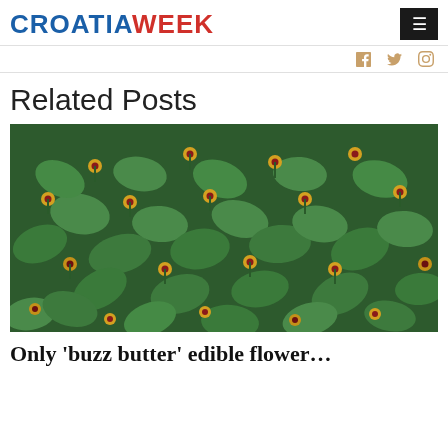CROATIAWEEK
[Figure (photo): Dense field of green leafy plants with small yellow and red button-like flowers/buds]
Related Posts
Only 'buzz butter' edible flower...